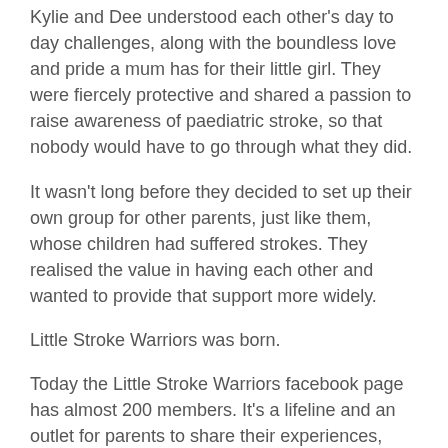Kylie and Dee understood each other's day to day challenges, along with the boundless love and pride a mum has for their little girl. They were fiercely protective and shared a passion to raise awareness of paediatric stroke, so that nobody would have to go through what they did.
It wasn't long before they decided to set up their own group for other parents, just like them, whose children had suffered strokes. They realised the value in having each other and wanted to provide that support more widely.
Little Stroke Warriors was born.
Today the Little Stroke Warriors facebook page has almost 200 members. It's a lifeline and an outlet for parents to share their experiences, their struggles and therapy ideas.
Members share their triumphs, which are extra sweet when a child reaches a goal doctors thought may not be possible. Little Stroke Warriors grew quickly because it was needed.